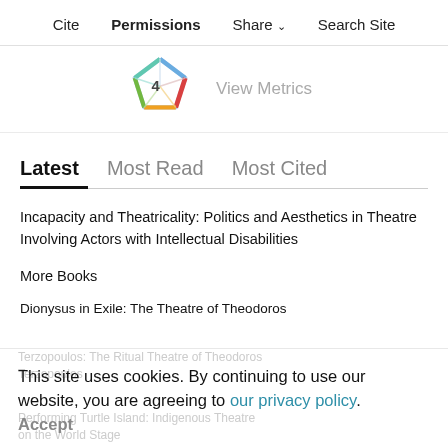Cite  Permissions  Share ˅  Search Site
[Figure (infographic): Altmetric pentagon-shaped icon with colored segments (blue, green, yellow, red, teal) and the number 4, alongside 'View Metrics' label]
Latest  Most Read  Most Cited
Incapacity and Theatricality: Politics and Aesthetics in Theatre Involving Actors with Intellectual Disabilities
More Books
Dionysus in Exile: The Theatre of Theodoros
This site uses cookies. By continuing to use our website, you are agreeing to our privacy policy. Accept